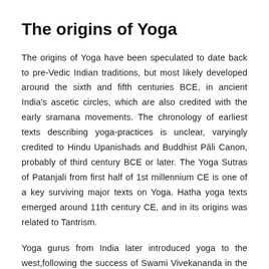The origins of Yoga
The origins of Yoga have been speculated to date back to pre-Vedic Indian traditions, but most likely developed around the sixth and fifth centuries BCE, in ancient India's ascetic circles, which are also credited with the early sramana movements. The chronology of earliest texts describing yoga-practices is unclear, varyingly credited to Hindu Upanishads and Buddhist Pāli Canon, probably of third century BCE or later. The Yoga Sutras of Patanjali from first half of 1st millennium CE is one of a key surviving major texts on Yoga. Hatha yoga texts emerged around 11th century CE, and in its origins was related to Tantrism.
Yoga gurus from India later introduced yoga to the west,following the success of Swami Vivekananda in the late 19th and early 20th century. In the 1980s, yoga became popular as a system of physical exercise across